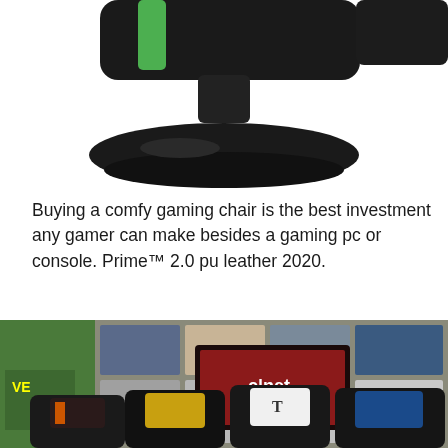[Figure (photo): Close-up photo of a black gaming chair with green accent trim on the back, resting on a round black pedestal base, against a white background. The image is cropped showing the lower portion of the chair and base.]
Buying a comfy gaming chair is the best investment any gamer can make besides a gaming pc or console. Prime™ 2.0 pu leather 2020.
[Figure (photo): Photo of a room setup showing multiple gaming chairs arranged in front of a TV displaying the CNET logo. The background features a wall of colorful shelving units. On the left side there is green foliage wall decor with neon signs. Gaming chairs include black/yellow, black/white, and black/blue color variants.]